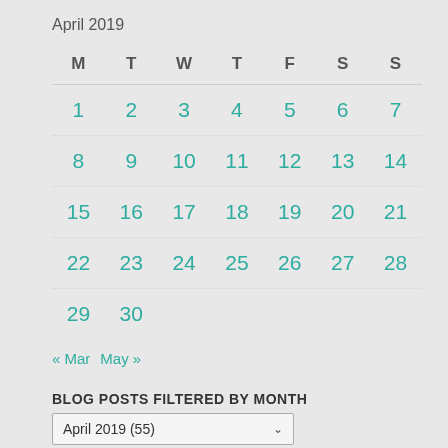April 2019
| M | T | W | T | F | S | S |
| --- | --- | --- | --- | --- | --- | --- |
| 1 | 2 | 3 | 4 | 5 | 6 | 7 |
| 8 | 9 | 10 | 11 | 12 | 13 | 14 |
| 15 | 16 | 17 | 18 | 19 | 20 | 21 |
| 22 | 23 | 24 | 25 | 26 | 27 | 28 |
| 29 | 30 |  |  |  |  |  |
« Mar   May »
BLOG POSTS FILTERED BY MONTH
April 2019 (55)